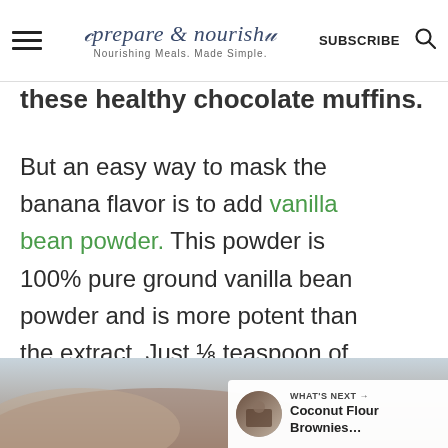prepare & nourish — Nourishing Meals. Made Simple. | SUBSCRIBE
these healthy chocolate muffins.
But an easy way to mask the banana flavor is to add vanilla bean powder. This powder is 100% pure ground vanilla bean powder and is more potent than the extract. Just ⅛ teaspoon of dried vanilla beans will do the trick.
[Figure (photo): Close-up photo of food item at bottom of page with a 'What's Next: Coconut Flour Brownies...' overlay widget]